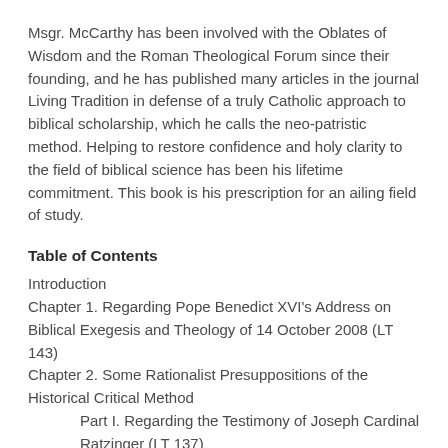Msgr. McCarthy has been involved with the Oblates of Wisdom and the Roman Theological Forum since their founding, and he has published many articles in the journal Living Tradition in defense of a truly Catholic approach to biblical scholarship, which he calls the neo-patristic method. Helping to restore confidence and holy clarity to the field of biblical science has been his lifetime commitment. This book is his prescription for an ailing field of study.
Table of Contents
Introduction
Chapter 1. Regarding Pope Benedict XVI's Address on Biblical Exegesis and Theology of 14 October 2008 (LT 143)
Chapter 2. Some Rationalist Presuppositions of the Historical Critical Method
Part I. Regarding the Testimony of Joseph Cardinal Ratzinger (LT 137)